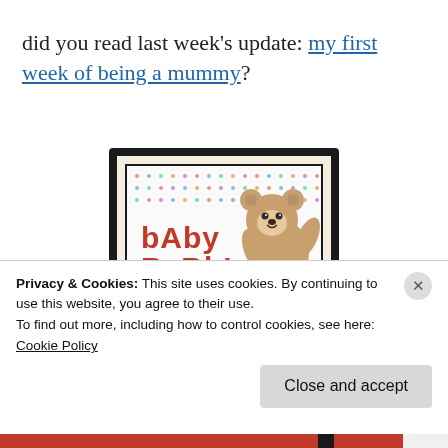did you read last week's update: my first week of being a mummy?
[Figure (logo): Baby Babble blog badge with teddy bear illustration. Text reads 'bAby BaBbLe' and 'carsonsmummy.blogspot.co.uk' on a polka dot background with dark frame.]
Privacy & Cookies: This site uses cookies. By continuing to use this website, you agree to their use.
To find out more, including how to control cookies, see here:
Cookie Policy
Close and accept